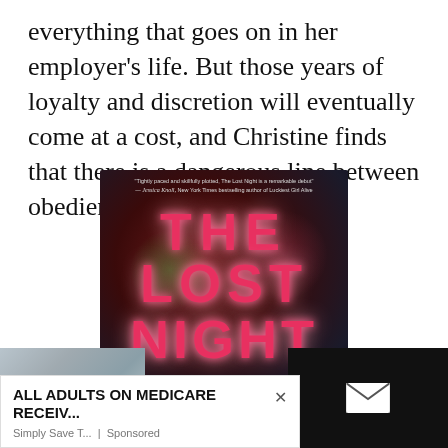everything that goes on in her employer's life. But those years of loyalty and discretion will eventually come at a cost, and Christine finds that there is a dangerous line between obedience and obsession.
[Figure (photo): Book cover for 'The Lost Night' — dark red/maroon background with glowing neon-style pink/red text. Blurb at top from Jessica Knoll. Title reads THE LOST NIGHT in large bold letters. Subtitle 'A Novel' at bottom.]
[Figure (screenshot): Advertisement overlay reading 'ALL ADULTS ON MEDICARE RECEIV...' from 'Simply Save T... | Sponsored' with a close X button. Partially overlapping a photo of papers/cards on the left and a dark panel with email icon on the right.]